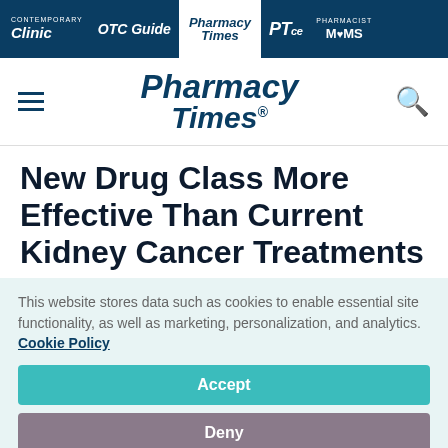Contemporary Clinic | OTC Guide | Pharmacy Times | PTce | Pharmacist MOMS
[Figure (logo): Pharmacy Times logo with hamburger menu and search icon]
New Drug Class More Effective Than Current Kidney Cancer Treatments
This website stores data such as cookies to enable essential site functionality, as well as marketing, personalization, and analytics. Cookie Policy
Accept
Deny